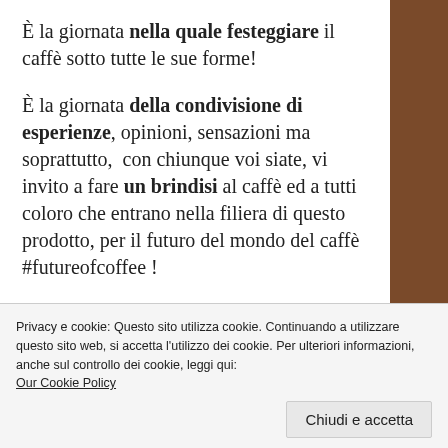È la giornata nella quale festeggiare il caffè sotto tutte le sue forme!
È la giornata della condivisione di esperienze, opinioni, sensazioni ma soprattutto,  con chiunque voi siate, vi invito a fare un brindisi al caffè ed a tutti coloro che entrano nella filiera di questo prodotto, per il futuro del mondo del caffè #futureofcoffee !
What is the international coffee day?
Privacy e cookie: Questo sito utilizza cookie. Continuando a utilizzare questo sito web, si accetta l'utilizzo dei cookie. Per ulteriori informazioni, anche sul controllo dei cookie, leggi qui: Our Cookie Policy